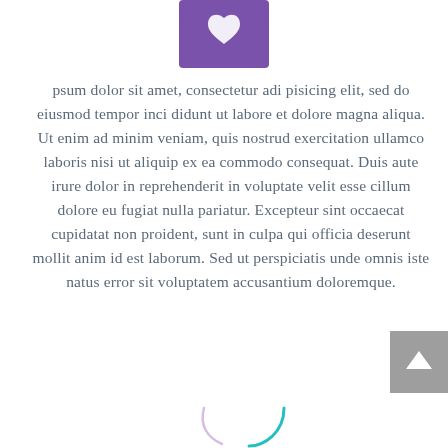[Figure (illustration): Purple square icon with a white heart/leaf shape inside, centered at the top of the page]
psum dolor sit amet, consectetur adi pisicing elit, sed do eiusmod tempor inci didunt ut labore et dolore magna aliqua. Ut enim ad minim veniam, quis nostrud exercitation ullamco laboris nisi ut aliquip ex ea commodo consequat. Duis aute irure dolor in reprehenderit in voluptate velit esse cillum dolore eu fugiat nulla pariatur. Excepteur sint occaecat cupidatat non proident, sunt in culpa qui officia deserunt mollit anim id est laborum. Sed ut perspiciatis unde omnis iste natus error sit voluptatem accusantium doloremque.
[Figure (illustration): Gray button with upward-pointing caret in bottom right corner, and partial teal/cyan circular arc in bottom center]
[Figure (illustration): Partial teal arc/circle visible at bottom center of page]